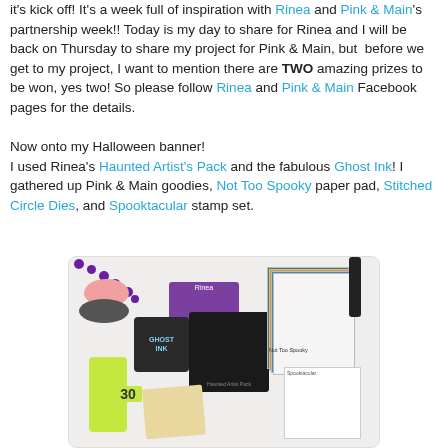it's kick off! It's a week full of inspiration with Rinea and Pink & Main's partnership week!! Today is my day to share for Rinea and I will be back on Thursday to share my project for Pink & Main, but before we get to my project, I want to mention there are TWO amazing prizes to be won, yes two! So please follow Rinea and Pink & Main Facebook pages for the details.

Now onto my Halloween banner!
I used Rinea's Haunted Artist's Pack and the fabulous Ghost Ink! I gathered up Pink & Main goodies, Not Too Spooky paper pad, Stitched Circle Dies, and Spooktacular stamp set.
[Figure (photo): Flat lay photo of craft supplies including Rinea Haunted Artist Pack, Ghost Ink stamp pad, Pink & Main Not Too Spooky paper pad, twine, tags, stamp set, sunscreen bottle, and purple pom pom garland.]